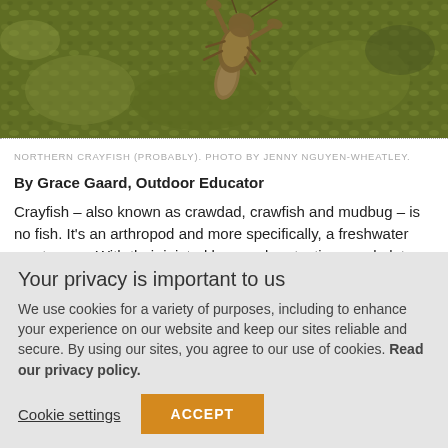[Figure (photo): Photograph of a crayfish (northern crayfish) on a rocky/muddy aquatic substrate, viewed from above, with claws visible. Greenish-brown rocky background.]
NORTHERN CRAYFISH (PROBABLY). PHOTO BY JENNY NGUYEN-WHEATLEY.
By Grace Gaard, Outdoor Educator
Crayfish – also known as crawdad, crawfish and mudbug – is no fish. It's an arthropod and more specifically, a freshwater crustacean. With their jointed legs and protective exoskeleton, crayfish are a unique part of Nebraska's aquatic ecosystems.
Your privacy is important to us
We use cookies for a variety of purposes, including to enhance your experience on our website and keep our sites reliable and secure. By using our sites, you agree to our use of cookies. Read our privacy policy.
Cookie settings
ACCEPT